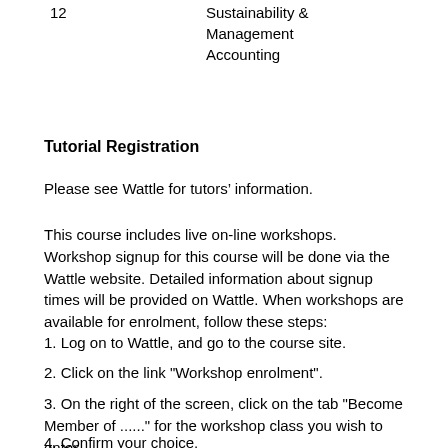| 12 |  | Sustainability &
Management
Accounting |
Tutorial Registration
Please see Wattle for tutors’ information.
This course includes live on-line workshops. Workshop signup for this course will be done via the Wattle website. Detailed information about signup times will be provided on Wattle. When workshops are available for enrolment, follow these steps:
1. Log on to Wattle, and go to the course site.
2. Click on the link "Workshop enrolment".
3. On the right of the screen, click on the tab "Become Member of ......" for the workshop class you wish to enter.
4. Confirm your choice.